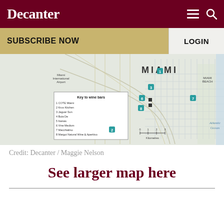Decanter
SUBSCRIBE NOW
LOGIN
[Figure (map): Map of Miami showing wine bar locations numbered 1-10, with a key listing: 1 COTE Miami, 2 Krus Kitchen, 3 Jaguar Sun, 4 Boia De, 5 Itamas, 6 Vine Medium, 7 Macchialino, 8 Margot Natural Wine & Aperitivo, 9 Paradis Books and Bread, 10 Lucio/Wine Shop. Map shows Miami International Airport, Miami Beach, Atlantic Ocean labels, and a scale bar in kilometres.]
Credit: Decanter / Maggie Nelson
See larger map here